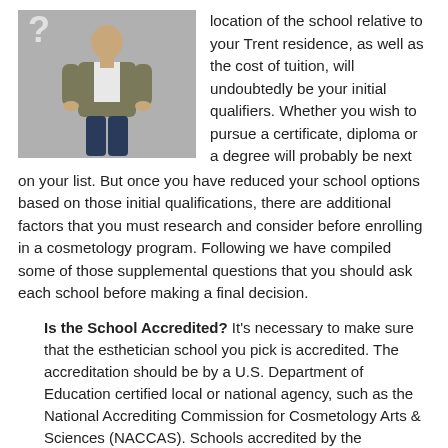[Figure (photo): Person standing in casual clothing (grey jacket, white shirt, dark jeans) with a question mark visible in the upper left corner, against a grey background.]
location of the school relative to your Trent residence, as well as the cost of tuition, will undoubtedly be your initial qualifiers. Whether you wish to pursue a certificate, diploma or a degree will probably be next on your list. But once you have reduced your school options based on those initial qualifications, there are additional factors that you must research and consider before enrolling in a cosmetology program. Following we have compiled some of those supplemental questions that you should ask each school before making a final decision.
Is the School Accredited? It’s necessary to make sure that the esthetician school you pick is accredited. The accreditation should be by a U.S. Department of Education certified local or national agency, such as the National Accrediting Commission for Cosmetology Arts & Sciences (NACCAS). Schools accredited by the